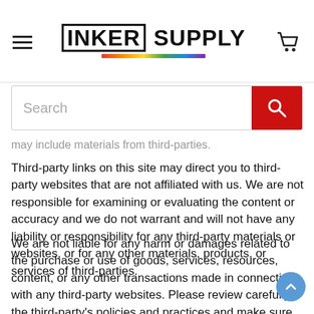INKER SUPPLY
[Figure (screenshot): Search bar with red search button]
may include materials from third-parties.
Third-party links on this site may direct you to third-party websites that are not affiliated with us. We are not responsible for examining or evaluating the content or accuracy and we do not warrant and will not have any liability or responsibility for any third-party materials or websites, or for any other materials, products, or services of third-parties.
We are not liable for any harm or damages related to the purchase or use of goods, services, resources, content, or any other transactions made in connection with any third-party websites. Please review carefully the third-party's policies and practices and make sure you understand them before you